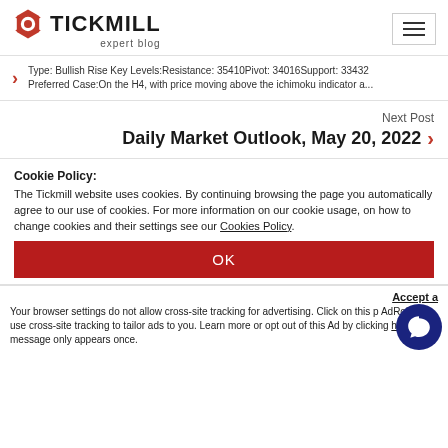[Figure (logo): Tickmill expert blog logo with red hexagon gear icon and hamburger menu]
Type: Bullish Rise Key Levels:Resistance: 35410Pivot: 34016Support: 33432 Preferred Case:On the H4, with price moving above the ichimoku indicator a...
Next Post
Daily Market Outlook, May 20, 2022
Cookie Policy: The Tickmill website uses cookies. By continuing browsing the page you automatically agree to our use of cookies. For more information on our cookie usage, on how to change cookies and their settings see our Cookies Policy.
OK
Accept a
Your browser settings do not allow cross-site tracking for advertising. Click on this p AdRoll to use cross-site tracking to tailor ads to you. Learn more or opt out of this Ad by clicking here. This message only appears once.